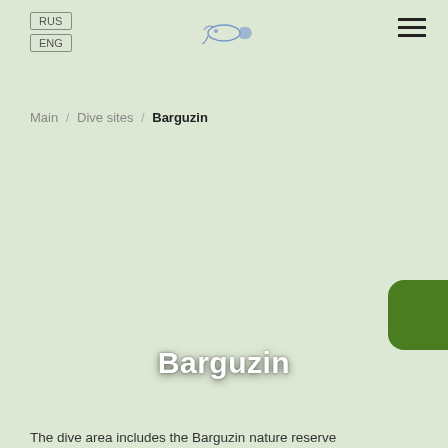RUS ENG [logo] [hamburger menu]
Main / Dive sites / Barguzin
[Figure (illustration): Green rounded rectangle button on the right side of the page]
Barguzin
The dive area includes the Barguzin nature reserve